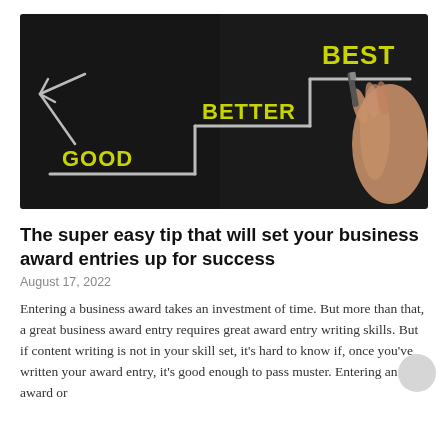[Figure (photo): Chalkboard with staircase steps labeled GOOD, BETTER, BEST in yellow bold text, with a hand holding a marker drawing the steps on the right side. Dark background.]
The super easy tip that will set your business award entries up for success
August 17, 2022
Entering a business award takes an investment of time. But more than that, a great business award entry requires great award entry writing skills. But if content writing is not in your skill set, it's hard to know if, once you've written your award entry, it's good enough to pass muster. Entering an award or